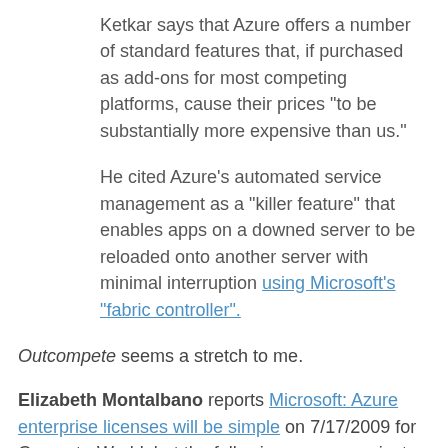Ketkar says that Azure offers a number of standard features that, if purchased as add-ons for most competing platforms, cause their prices "to be substantially more expensive than us."
He cited Azure's automated service management as a "killer feature" that enables apps on a downed server to be reloaded onto another server with minimal interruption using Microsoft's "fabric controller".
Outcompete seems a stretch to me.
Elizabeth Montalbano reports Microsoft: Azure enterprise licenses will be simple on 7/17/2009 for ComputerWorld, but the following argues against her premise:
In particular, pricing for its hosted Business Productivity Online Suite (BPOS) -- which includes hosted versions of Exchange, SharePoint, LiveMeeting and Office Communications -- is causing customers some concern, said Paul DeGroot, an analyst with